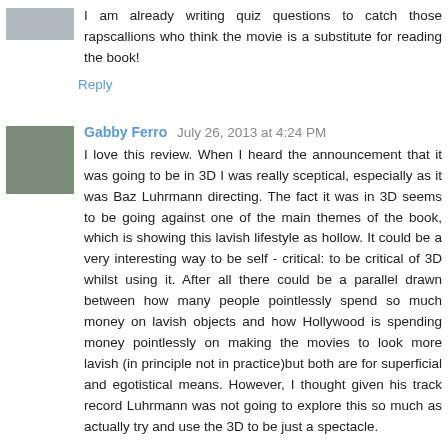I am already writing quiz questions to catch those rapscallions who think the movie is a substitute for reading the book!
Reply
Gabby Ferro  July 26, 2013 at 4:24 PM
I love this review. When I heard the announcement that it was going to be in 3D I was really sceptical, especially as it was Baz Luhrmann directing. The fact it was in 3D seems to be going against one of the main themes of the book, which is showing this lavish lifestyle as hollow. It could be a very interesting way to be self - critical: to be critical of 3D whilst using it. After all there could be a parallel drawn between how many people pointlessly spend so much money on lavish objects and how Hollywood is spending money pointlessly on making the movies to look more lavish (in principle not in practice)but both are for superficial and egotistical means. However, I thought given his track record Luhrmann was not going to explore this so much as actually try and use the 3D to be just a spectacle.